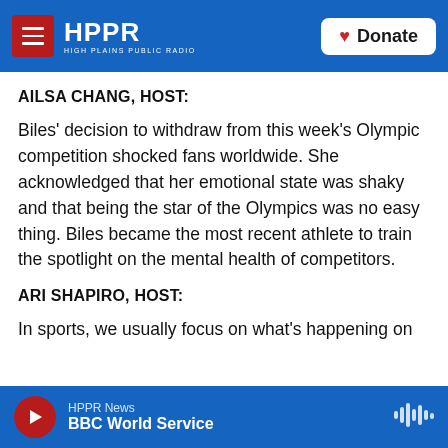HPPR HIGH PLAINS PUBLIC RADIO
AILSA CHANG, HOST:
Biles' decision to withdraw from this week's Olympic competition shocked fans worldwide. She acknowledged that her emotional state was shaky and that being the star of the Olympics was no easy thing. Biles became the most recent athlete to train the spotlight on the mental health of competitors.
ARI SHAPIRO, HOST:
In sports, we usually focus on what's happening on the...
HPPR News | BBC World Service